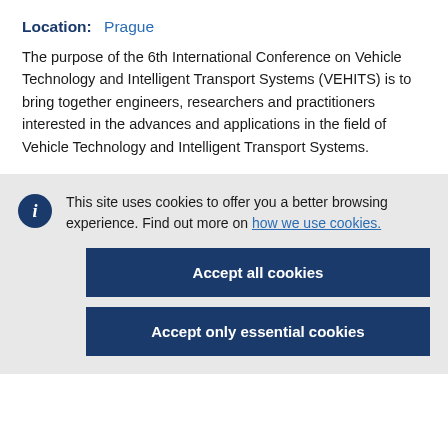Location: Prague
The purpose of the 6th International Conference on Vehicle Technology and Intelligent Transport Systems (VEHITS) is to bring together engineers, researchers and practitioners interested in the advances and applications in the field of Vehicle Technology and Intelligent Transport Systems.
This site uses cookies to offer you a better browsing experience. Find out more on how we use cookies.
Accept all cookies
Accept only essential cookies